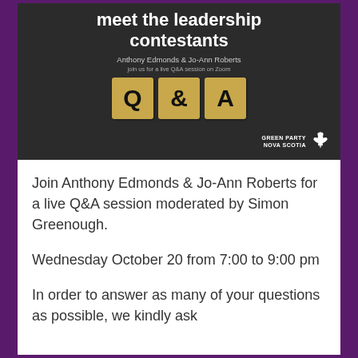[Figure (infographic): Dark banner for Green Party Nova Scotia event showing 'meet the leadership contestants', names Anthony Edmonds & Jo-Ann Roberts, Q&A wooden letter blocks, and Green Party Nova Scotia logo]
Join Anthony Edmonds & Jo-Ann Roberts for a live Q&A session moderated by Simon Greenough.
Wednesday October 20 from 7:00 to 9:00 pm
In order to answer as many of your questions as possible, we kindly ask